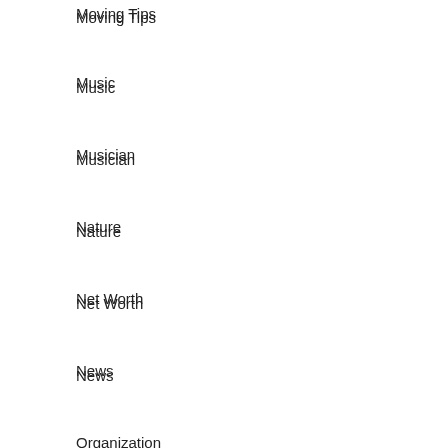Moving Tips
Music
Musician
Nature
Net Worth
News
Organization
Parenting
People
Pets
Photography
Politics
Rapper
Relationships
Religion